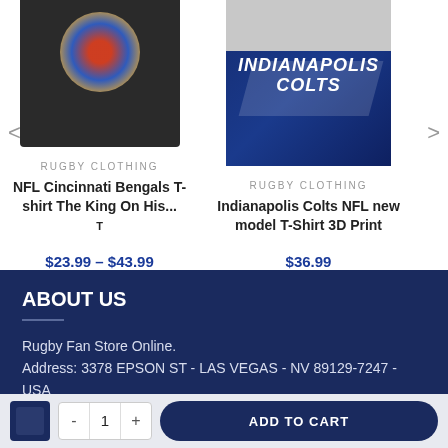[Figure (photo): Dark/black NFL Cincinnati Bengals t-shirt with colorful graphic on a white background]
RUGBY CLOTHING
NFL Cincinnati Bengals T-shirt The King On His... T
$23.99 – $43.99
[Figure (photo): Indianapolis Colts NFL blue and gray 3D print t-shirt on white background]
RUGBY CLOTHING
Indianapolis Colts NFL new model T-Shirt 3D Print
$36.99
ABOUT US
Rugby Fan Store Online.
Address: 3378 EPSON ST - LAS VEGAS - NV 89129-7247 - USA
Mail:...
ADD TO CART